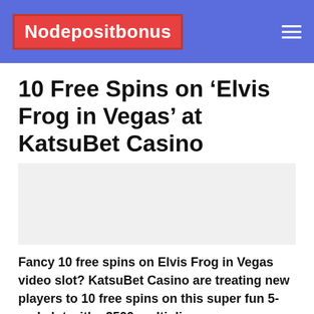Nodepositbonus
10 Free Spins on ‘Elvis Frog in Vegas’ at KatsuBet Casino
[Figure (photo): Blank image placeholder area for article illustration]
Fancy 10 free spins on Elvis Frog in Vegas video slot? KatsuBet Casino are treating new players to 10 free spins on this super fun 5-reel slot with x2500 multiplier.